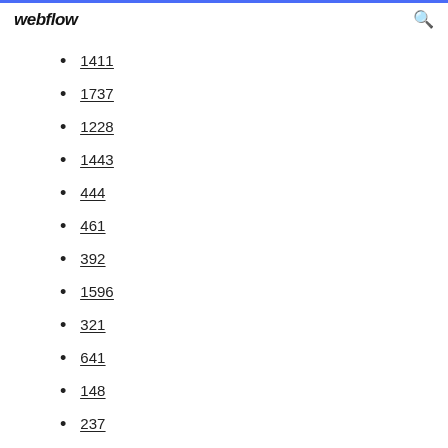webflow
1411
1737
1228
1443
444
461
392
1596
321
641
148
237